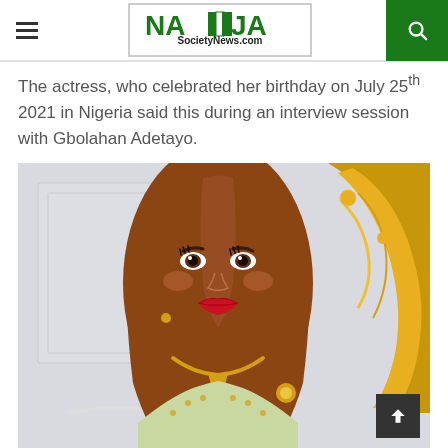NAIJA SocietyNews.com — your #1 stop society online journal
The actress, who celebrated her birthday on July 25th 2021 in Nigeria said this during an interview session with Gbolahan Adetayo.
[Figure (photo): A woman with long auburn hair, wearing gold jewelry and a decorative outfit, smiling at the camera while seated in front of a white and gold ornate chair/headboard.]